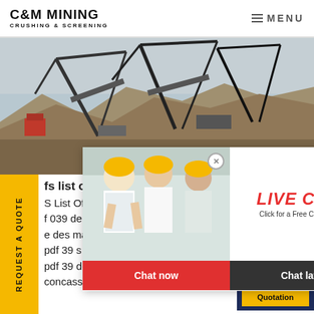C&M MINING CRUSHING & SCREENING | MENU
[Figure (photo): Mining/crushing equipment at a quarry site with large cranes and machinery, stockpiles of aggregate material in the background]
REQUEST A QUOTE
[Figure (screenshot): Live chat popup with workers in hard hats. Text reads: LIVE CHAT - Click for a Free Consultation. Buttons: Chat now | Chat later]
[Figure (photo): Customer service representative wearing headset, smiling. Overlay box reads: Have any requests, click here. Quotation button below.]
fs list o
S List Of Kota Stone Crusher A
f 039 de concasseurs de pierre
e des machines concasseuses
pdf 39 s list of kota stone crushers
pdf 39 de concasseurs à kota kóta
concasseurs de pierres kota a Ko